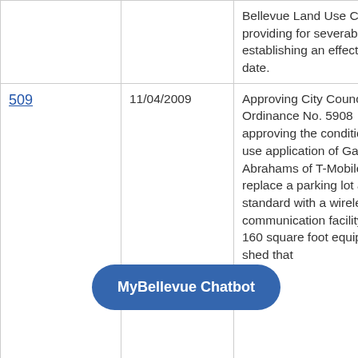|  |  |  |
| --- | --- | --- |
|  |  | Bellevue Land Use Code; providing for severability and establishing an effective date. |
| 509 | 11/04/2009 | Approving City Council Ordinance No. 5908 approving the conditional use application of Gary Abrahams of T-Mobile to replace a parking lot area standard with a wireless communication facility and a 160 square foot equipment shed that |
[Figure (other): MyBellevue Chatbot button overlay]